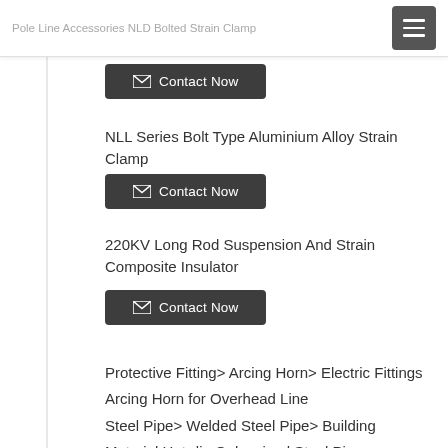Pole Line Accessories NLD Bolted Strain Clamp
Contact Now
NLL Series Bolt Type Aluminium Alloy Strain Clamp
Contact Now
220KV Long Rod Suspension And Strain Composite Insulator
Contact Now
Protective Fitting> Arcing Horn> Electric Fittings Arcing Horn for Overhead Line Steel Pipe> Welded Steel Pipe> Building Material Hot-dip Galvanized Steel Pipe Steel Pipe> Welded Steel Pipe> Car Air Conditioner Pipe Round Welded Steel Pipe